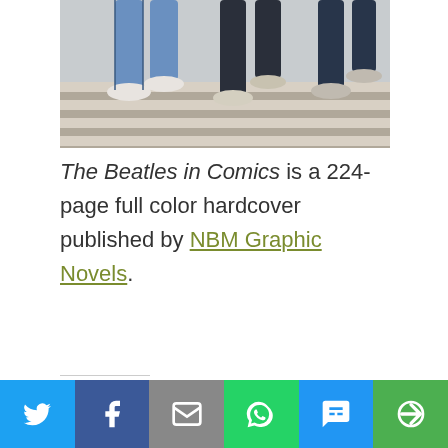[Figure (illustration): Illustration showing legs of people walking on a crosswalk, in comic/cartoon art style resembling the Beatles Abbey Road album cover.]
The Beatles in Comics is a 224-page full color hardcover published by NBM Graphic Novels.
Share this:
Pocket  Print  Email
Telegram  Reddit
[Figure (infographic): Bottom share bar with icons for Twitter, Facebook, Email, WhatsApp, SMS, and More (share).]